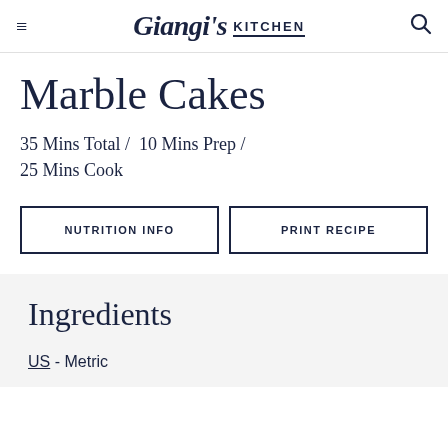Giangis KITCHEN
Marble Cakes
35 Mins Total / 10 Mins Prep / 25 Mins Cook
NUTRITION INFO
PRINT RECIPE
Ingredients
US - Metric